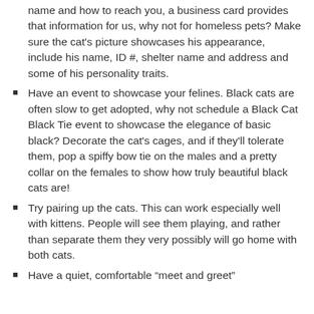name and how to reach you, a business card provides that information for us, why not for homeless pets?  Make sure the cat's picture showcases his appearance, include his name, ID #, shelter name and address and some of his personality traits.
Have an event to showcase your felines.  Black cats are often slow to get adopted, why not schedule a Black Cat Black Tie event to showcase the elegance of basic black?  Decorate the cat's cages, and if they'll tolerate them, pop a spiffy bow tie  on the males and a pretty collar on the females to show how truly beautiful black cats are!
Try pairing up the cats.  This can work especially well with kittens.  People will see them playing, and rather than separate them they very possibly will go home with both cats.
Have a quiet, comfortable “meet and greet”